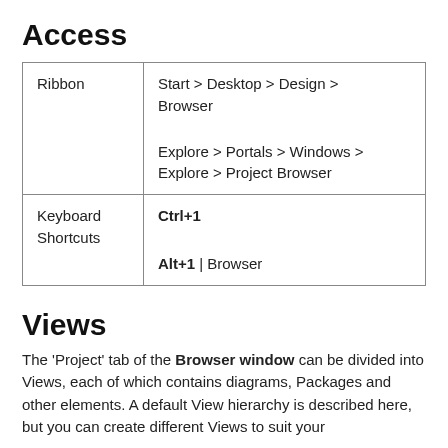Access
| Ribbon | Start > Desktop > Design > Browser

Explore > Portals > Windows > Explore > Project Browser |
| Keyboard Shortcuts | Ctrl+1

Alt+1 | Browser |
Views
The 'Project' tab of the Browser window can be divided into Views, each of which contains diagrams, Packages and other elements. A default View hierarchy is described here, but you can create different Views to suit your requirements.